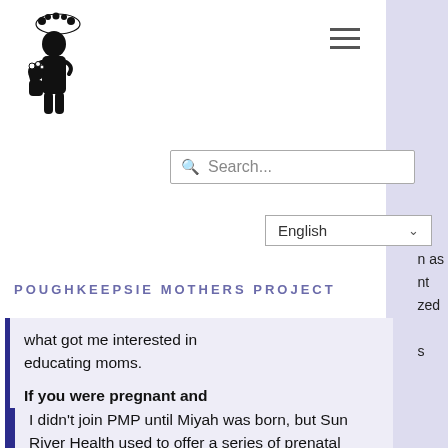[Figure (logo): Black silhouette illustration of a woman holding a child, with decorative floral elements, serving as the Poughkeepsie Mothers Project logo]
[Figure (other): Hamburger menu icon with three horizontal lines]
[Figure (other): Search input box with magnifying glass icon and placeholder text 'Search...']
[Figure (other): Language selector dropdown showing 'English' with a chevron arrow]
POUGHKEEPSIE MOTHERS PROJECT
what got me interested in educating moms.
If you were pregnant and attending PMP meetings, how was this valuable/what was this experience like?
I didn't join PMP until Miyah was born, but Sun River Health used to offer a series of prenatal classes which I did attend. They were